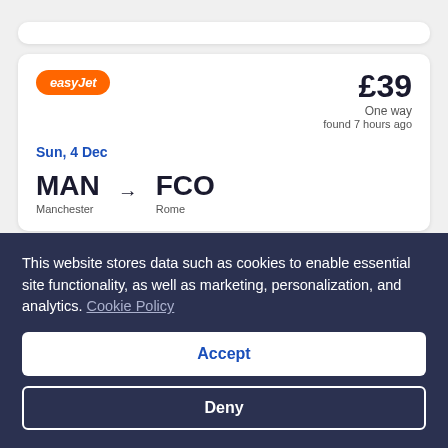[Figure (logo): easyJet orange rounded logo]
£39
One way
found 7 hours ago
Sun, 4 Dec
MAN → FCO
Manchester    Rome
[Figure (logo): easyJet orange rounded logo]
£39
Return
found 7 hours ago
This website stores data such as cookies to enable essential site functionality, as well as marketing, personalization, and analytics. Cookie Policy
Accept
Deny